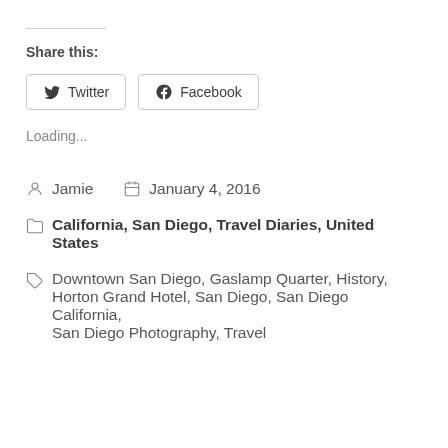Share this:
Twitter  Facebook
Loading...
Jamie   January 4, 2016
California, San Diego, Travel Diaries, United States
Downtown San Diego, Gaslamp Quarter, History, Horton Grand Hotel, San Diego, San Diego California, San Diego Photography, Travel